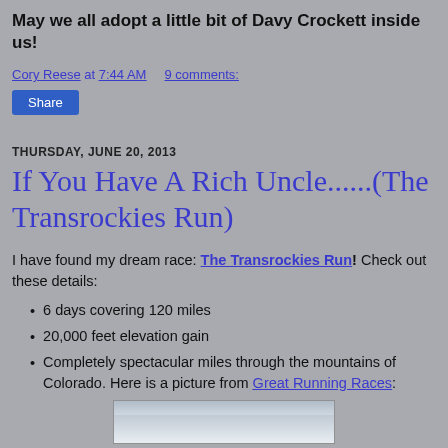May we all adopt a little bit of Davy Crockett inside us!
Cory Reese at 7:44 AM   9 comments:
Share
THURSDAY, JUNE 20, 2013
If You Have A Rich Uncle......(The Transrockies Run)
I have found my dream race: The Transrockies Run! Check out these details:
6 days covering 120 miles
20,000 feet elevation gain
Completely spectacular miles through the mountains of Colorado. Here is a picture from Great Running Races:
[Figure (photo): Mountain landscape photo preview (partial, cropped at bottom of page)]